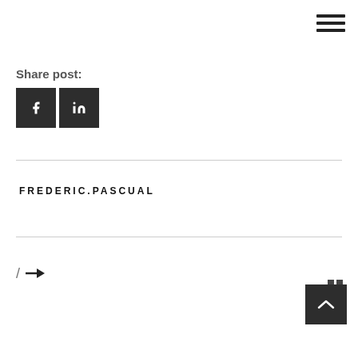[Figure (other): Hamburger menu icon (three horizontal lines) in top right corner]
Share post:
[Figure (other): Facebook share button (dark square with 'f' icon) and LinkedIn share button (dark square with 'in' icon)]
FREDERIC.PASCUAL
[Figure (other): Navigation: slash and right arrow icon]
[Figure (other): Scroll-to-top dark square button with upward chevron, and grid icon overlay in top right]